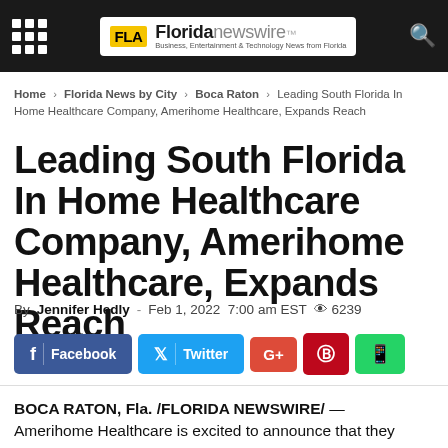Florida Newswire – Business, Entertainment & Technology News from Florida
Home › Florida News by City › Boca Raton › Leading South Florida In Home Healthcare Company, Amerihome Healthcare, Expands Reach
Leading South Florida In Home Healthcare Company, Amerihome Healthcare, Expands Reach
By Jennifer Hedly - Feb 1, 2022 7:00 am EST  👁 6239
[Figure (infographic): Social sharing buttons: Facebook, Twitter, Google+, Pinterest, WhatsApp]
BOCA RATON, Fla. /FLORIDA NEWSWIRE/ — Amerihome Healthcare is excited to announce that they are now expanding; it will now expand it…